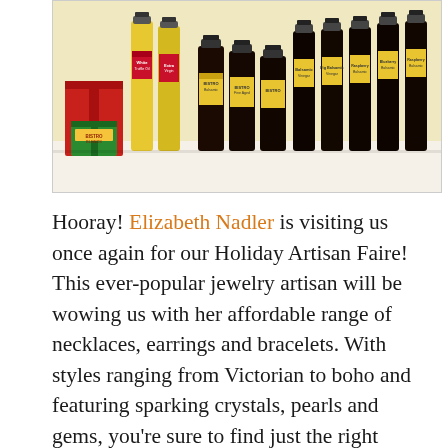[Figure (photo): Photo of Bistro Blends products including bottles of balsamic vinegar and infused olive oil with yellow and dark labels, plus a gift box set with red and green packaging]
Hooray! Elizabeth Nadler is visiting us once again for our Holiday Artisan Faire! This ever-popular jewelry artisan will be wowing us with her affordable range of necklaces, earrings and bracelets. With styles ranging from Victorian to boho and featuring sparking crystals, pearls and gems, you're sure to find just the right trinket for everyone on your list.
Bring festive flavors to your holiday table with Bistro Blends! The finest ingredients are used in every bottle of balsamic vinegar and infused olive oil blends